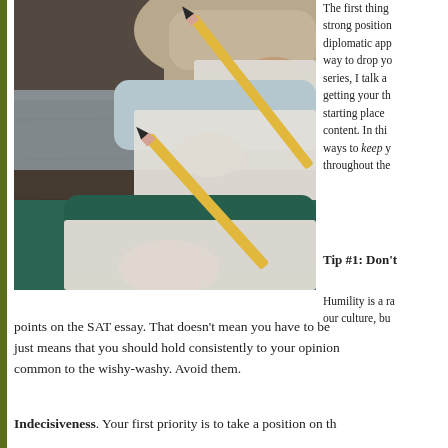[Figure (photo): Students writing with pencils on paper at a wooden desk, close-up of hands]
The first thing strong position diplomatic app way to drop yo series, I talk a getting your th starting place content. In this ways to keep y throughout the
Tip #1: Don't
Humility is a ra our culture, bu points on the SAT essay. That doesn't mean you have to be just means that you should hold consistently to your opinion common to the wishy-washy. Avoid them.
Indecisiveness. Your first priority is to take a position on th